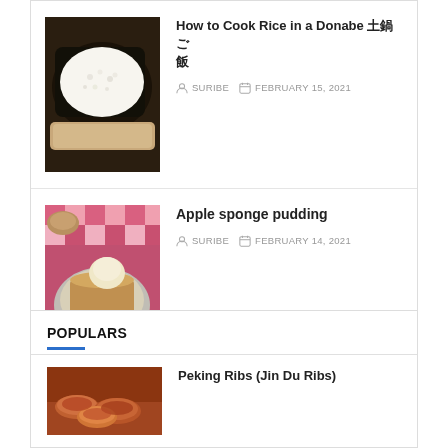[Figure (photo): Photo of rice cooked in a donabe (Japanese clay pot) — black pot with white rice, bamboo steamer in background]
How to Cook Rice in a Donabe 土鍋ご飯
SURIBE   FEBRUARY 15, 2021
[Figure (photo): Photo of apple sponge pudding — dessert in a round dish with ice cream scoop, on a red and white checkered cloth]
Apple sponge pudding
SURIBE   FEBRUARY 14, 2021
POPULARS
[Figure (photo): Photo of Peking Ribs (Jin Du Ribs) — glazed ribs]
Peking Ribs (Jin Du Ribs)